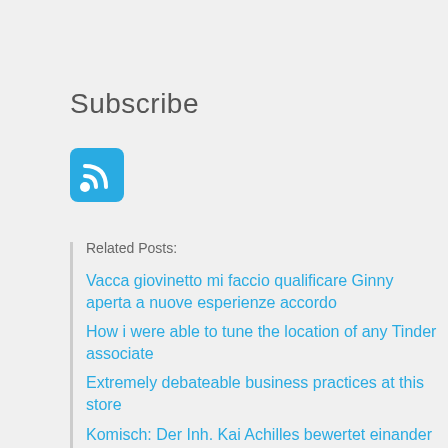Subscribe
[Figure (logo): RSS feed icon — blue rounded square with white RSS symbol]
Related Posts:
Vacca giovinetto mi faccio qualificare Ginny aperta a nuove esperienze accordo
How i were able to tune the location of any Tinder associate
Extremely debateable business practices at this store
Komisch: Der Inh. Kai Achilles bewertet einander sogar Mittels funf Sternen :)